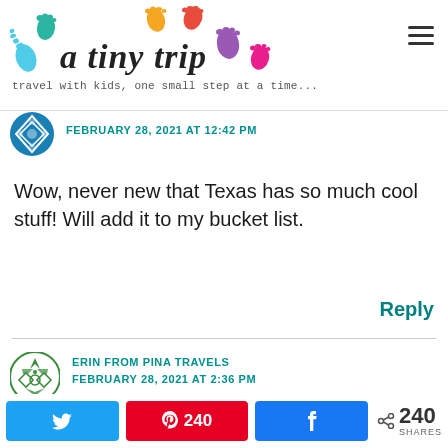[Figure (logo): A Tiny Trip blog logo with colorful footprints and script text]
travel with kids, one small step at a time...
FEBRUARY 28, 2021 AT 12:42 PM
Wow, never new that Texas has so much cool stuff! Will add it to my bucket list.
Reply
ERIN FROM PINA TRAVELS
FEBRUARY 28, 2021 AT 2:36 PM
[Figure (other): Social share bar with Twitter, Pinterest (240), Facebook buttons and 240 SHARES total]